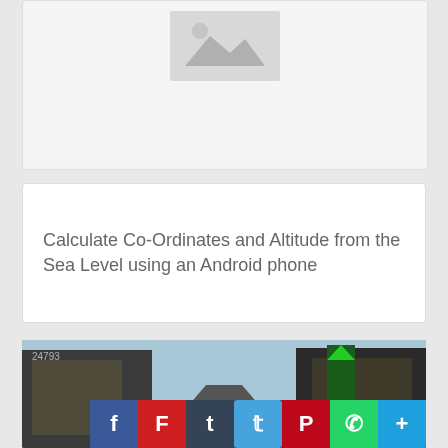[Figure (other): Placeholder image card with grey mountain/image placeholder icon at top]
Calculate Co-Ordinates and Altitude from the Sea Level using an Android phone
[Figure (photo): Street photo showing an urban road with buildings on both sides, green arrow pointing up on a traffic sign, and social media share buttons overlaid at the bottom right]